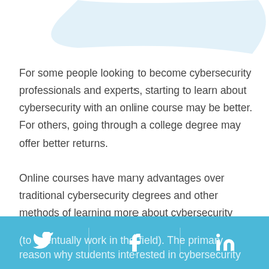[Figure (illustration): Light blue decorative curved/rounded shape at the top of the page, partially visible]
For some people looking to become cybersecurity professionals and experts, starting to learn about cybersecurity with an online course may be better. For others, going through a college degree may offer better returns.
Online courses have many advantages over traditional cybersecurity degrees and other methods of learning more about cybersecurity (to eventually work in the field). The primary reason why students interested in cybersecurity
[Figure (other): Social media sharing bar at the bottom with Twitter, Facebook, and LinkedIn icons on a blue background]